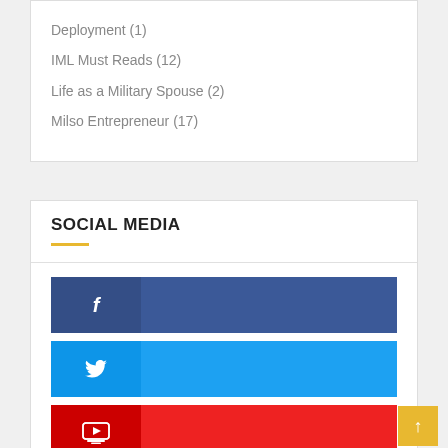Deployment (1)
IML Must Reads (12)
Life as a Military Spouse (2)
Milso Entrepreneur (17)
SOCIAL MEDIA
[Figure (infographic): Facebook social media button bar (dark blue icon box on left, lighter blue bar extending right)]
[Figure (infographic): Twitter social media button bar (darker blue icon box on left, lighter blue bar extending right)]
[Figure (infographic): YouTube social media button bar (dark red icon box on left, red bar extending right)]